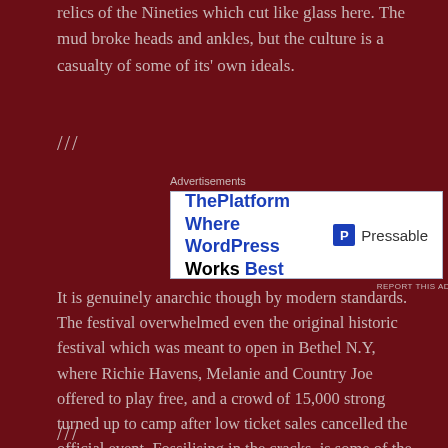relics of the Nineties which cut like glass here. The mud broke heads and ankles, but the culture is a casualty of some of its' own ideals.
///
Advertisements
[Figure (other): Advertisement for Pressable: ThePlatform Where WordPress Works Best]
It is genuinely anarchic though by modern standards. The festival overwhelmed even the original historic festival which was meant to open in Bethel N.Y, where Richie Havens, Melanie and Country Joe offered to play free, and a crowd of 15,000 strong turned up to camp after low ticket sales cancelled the official event. Fossilising in the cracks, is some of the most fluid evolutionary beats of rock music as it probably entered its' last major cultural decade (fight me).
///